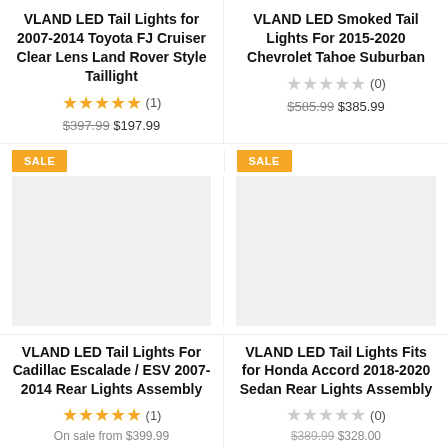VLAND LED Tail Lights for 2007-2014 Toyota FJ Cruiser Clear Lens Land Rover Style Taillight
★★★★★ (1) $397.99 $197.99
VLAND LED Smoked Tail Lights For 2015-2020 Chevrolet Tahoe Suburban
☆☆☆☆☆ (0) $585.99 $385.99
SALE
SALE
[Figure (photo): Product image placeholder - gray box]
[Figure (photo): Product image placeholder - gray box]
VLAND LED Tail Lights For Cadillac Escalade / ESV 2007-2014 Rear Lights Assembly
★★★★★ (1)
On sale from $399.99
VLAND LED Tail Lights Fits for Honda Accord 2018-2020 Sedan Rear Lights Assembly
☆☆☆☆☆ (0)
$389.99 $328.00